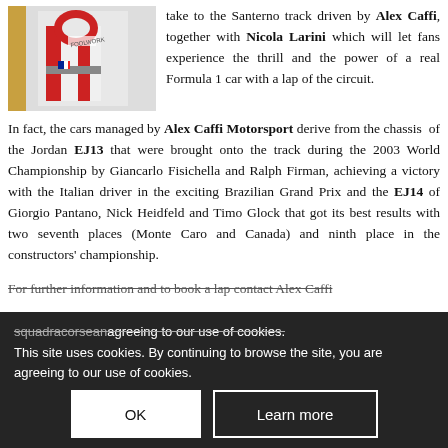[Figure (photo): Racing driver in red and white racing suit with logos, standing next to a car]
take to the Santerno track driven by Alex Caffi, together with Nicola Larini which will let fans experience the thrill and the power of a real Formula 1 car with a lap of the circuit.
In fact, the cars managed by Alex Caffi Motorsport derive from the chassis of the Jordan EJ13 that were brought onto the track during the 2003 World Championship by Giancarlo Fisichella and Ralph Firman, achieving a victory with the Italian driver in the exciting Brazilian Grand Prix and the EJ14 of Giorgio Pantano, Nick Heidfeld and Timo Glock that got its best results with two seventh places (Monte Caro and Canada) and ninth place in the constructors' championship.
For further information and to book a lap contact Alex Caffi squadracorsean...
This site uses cookies. By continuing to browse the site, you are agreeing to our use of cookies.